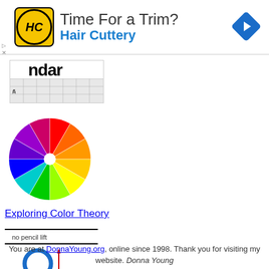[Figure (other): Hair Cuttery advertisement banner with HC logo, text 'Time For a Trim? Hair Cuttery', and a blue navigation arrow diamond icon]
[Figure (screenshot): Partial calendar thumbnail showing 'ndar' text and a small calendar grid with number 6 visible]
[Figure (other): Color wheel showing 12 segments: red, orange, yellow, green, cyan, blue, violet, purple, magenta, etc.]
Exploring Color Theory
[Figure (other): Handwriting animation thumbnail showing 'no pencil lift' text with blue letter O and arrows, donnayoung.org label, note (arrows are not an animations)]
62 Handwriting Animations
You are at DonnaYoung.org, online since 1998. Thank you for visiting my website. Donna Young